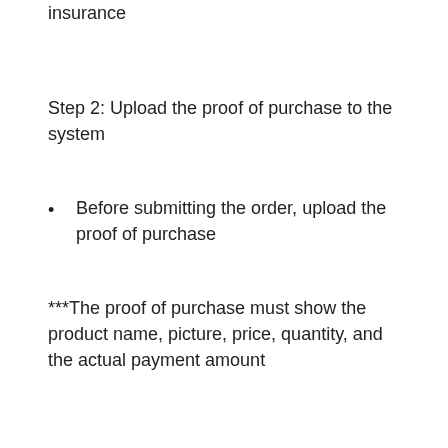insurance
Step 2: Upload the proof of purchase to the system
Before submitting the order, upload the proof of purchase
***The proof of purchase must show the product name, picture, price, quantity, and the actual payment amount